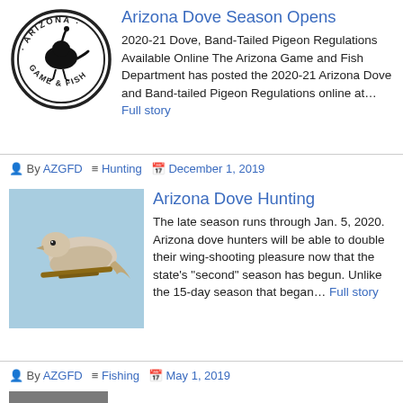Arizona Dove Season Opens
2020-21 Dove, Band-Tailed Pigeon Regulations Available Online The Arizona Game and Fish Department has posted the 2020-21 Arizona Dove and Band-tailed Pigeon Regulations online at… Full story
By AZGFD  Hunting  December 1, 2019
Arizona Dove Hunting
The late season runs through Jan. 5, 2020. Arizona dove hunters will be able to double their wing-shooting pleasure now that the state's "second" season has begun. Unlike the 15-day season that began… Full story
By AZGFD  Fishing  May 1, 2019